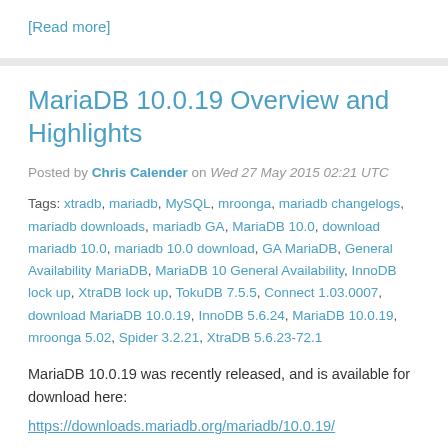[Read more]
MariaDB 10.0.19 Overview and Highlights
Posted by Chris Calender on Wed 27 May 2015 02:21 UTC
Tags: xtradb, mariadb, MySQL, mroonga, mariadb changelogs, mariadb downloads, mariadb GA, MariaDB 10.0, download mariadb 10.0, mariadb 10.0 download, GA MariaDB, General Availability MariaDB, MariaDB 10 General Availability, InnoDB lock up, XtraDB lock up, TokuDB 7.5.5, Connect 1.03.0007, download MariaDB 10.0.19, InnoDB 5.6.24, MariaDB 10.0.19, mroonga 5.02, Spider 3.2.21, XtraDB 5.6.23-72.1
MariaDB 10.0.19 was recently released, and is available for download here:
https://downloads.mariadb.org/mariadb/10.0.19/
This is the tenth GA release of MariaDB 10.0, and 20th